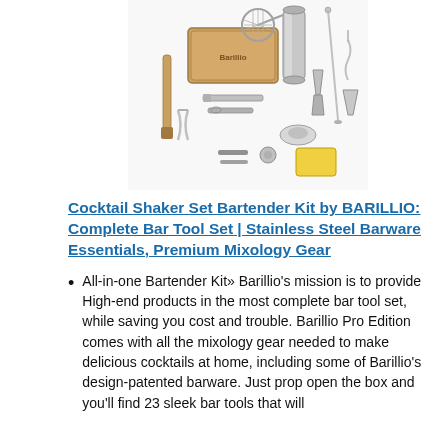[Figure (photo): Product photo of a Bartender Kit by BARILLIO showing cocktail shaker and various bar tools spread out on a surface]
Cocktail Shaker Set Bartender Kit by BARILLIO: Complete Bar Tool Set | Stainless Steel Barware Essentials, Premium Mixology Gear
All-in-one Bartender Kit» Barillio's mission is to provide High-end products in the most complete bar tool set, while saving you cost and trouble. Barillio Pro Edition comes with all the mixology gear needed to make delicious cocktails at home, including some of Barillio's design-patented barware. Just prop open the box and you'll find 23 sleek bar tools that will...